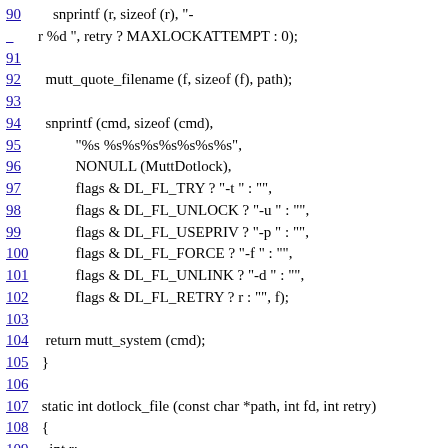90  snprintf (r, sizeof (r), "-
r %d ", retry ? MAXLOCKATTEMPT : 0);
91
92  mutt_quote_filename (f, sizeof (f), path);
93
94  snprintf (cmd, sizeof (cmd),
95          "%s %s%s%s%s%s%s%s",
96          NONULL (MuttDotlock),
97          flags & DL_FL_TRY ? "-t " : "",
98          flags & DL_FL_UNLOCK ? "-u " : "",
99          flags & DL_FL_USEPRIV ? "-p " : "",
100           flags & DL_FL_FORCE ? "-f " : "",
101           flags & DL_FL_UNLINK ? "-d " : "",
102           flags & DL_FL_RETRY ? r : "", f);
103
104  return mutt_system (cmd);
105 }
106
107 static int dotlock_file (const char *path, int fd, int retry)
108 {
109   int r;
110   int flags = DL_FL_USEPRIV | DL_FL_RETRY;
111
112  if (retry)
113    retry = 1;